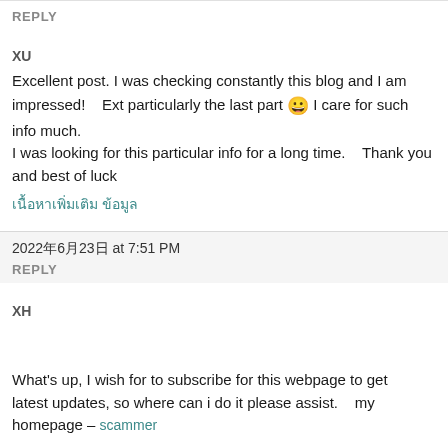REPLY
XU
Excellent post. I was checking constantly this blog and I am impressed!    Ext particularly the last part 😀 I care for such info much. I was looking for this particular info for a long time.    Thank you and best of luck
เนื้อหาเพิ่มเติม ข้อมูล
2022年6月23日 at 7:51 PM
REPLY
XH
What's up, I wish for to subscribe for this webpage to get latest updates, so where can i do it please assist.    my homepage – scammer